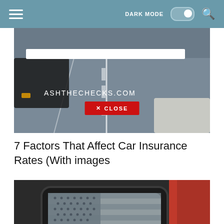DARK MODE  [toggle]  [search]
[Figure (screenshot): Advertisement overlay showing a parking lot aerial view with a URL bar, the text 'ASHTHECHECKS.COM', and a red CLOSE button]
7 Factors That Affect Car Insurance Rates (With images
[Figure (photo): Close-up photo of a Jeep vehicle door/window with an American flag decal etched in black on the glass panel]